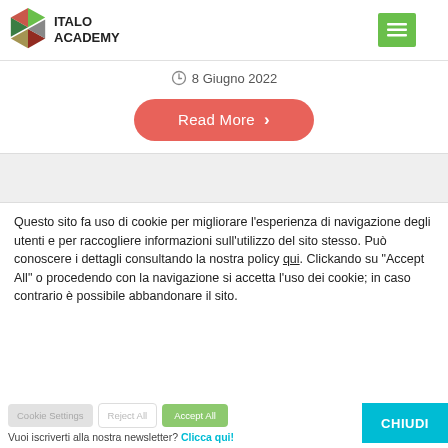[Figure (logo): Italo Academy logo with colorful S-shaped icon and text ITALO ACADEMY]
8 Giugno 2022
Read More >
Questo sito fa uso di cookie per migliorare l’esperienza di navigazione degli utenti e per raccogliere informazioni sull’utilizzo del sito stesso. Può conoscere i dettagli consultando la nostra policy qui. Clickando su "Accept All" o procedendo con la navigazione si accetta l’uso dei cookie; in caso contrario è possibile abbandonare il sito.
Cookie Settings   Reject All   Accept All
Vuoi iscriverti alla nostra newsletter? Clicca qui!
CHIUDI